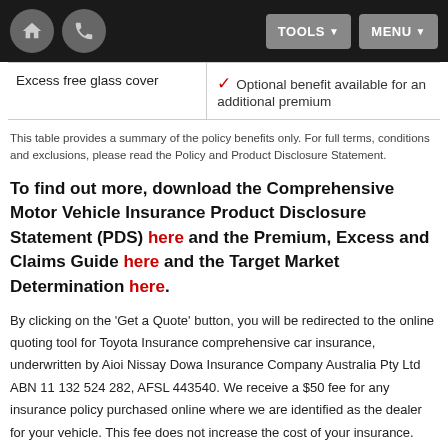[Figure (screenshot): Mobile navigation bar with home icon, phone icon, TOOLS dropdown button, and MENU dropdown button on dark background]
|  |  |
| --- | --- |
| Excess free glass cover | ✓ Optional benefit available for an additional premium |
This table provides a summary of the policy benefits only. For full terms, conditions and exclusions, please read the Policy and Product Disclosure Statement.
To find out more, download the Comprehensive Motor Vehicle Insurance Product Disclosure Statement (PDS) here and the Premium, Excess and Claims Guide here and the Target Market Determination here.
By clicking on the 'Get a Quote' button, you will be redirected to the online quoting tool for Toyota Insurance comprehensive car insurance, underwritten by Aioi Nissay Dowa Insurance Company Australia Pty Ltd ABN 11 132 524 282, AFSL 443540. We receive a $50 fee for any insurance policy purchased online where we are identified as the dealer for your vehicle. This fee does not increase the cost of your insurance.